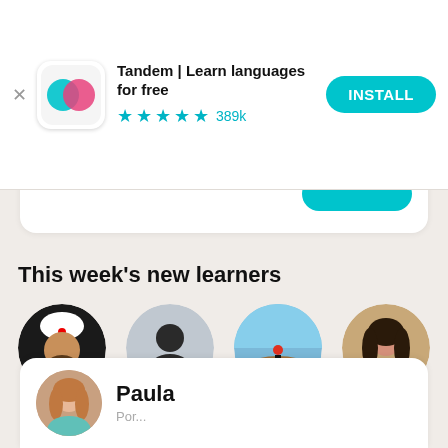[Figure (screenshot): Tandem app install banner ad with logo, title 'Tandem | Learn languages for free', 4.5 star rating with 389k reviews, and INSTALL button]
This week's new learners
[Figure (photo): Circular profile photo of Jose Antonio]
Jose Antonio
[Figure (photo): Circular profile photo of Deysi]
Deysi
[Figure (photo): Circular profile photo of Ana]
Ana
[Figure (photo): Circular profile photo of Julia]
Julia
Paula
Por...